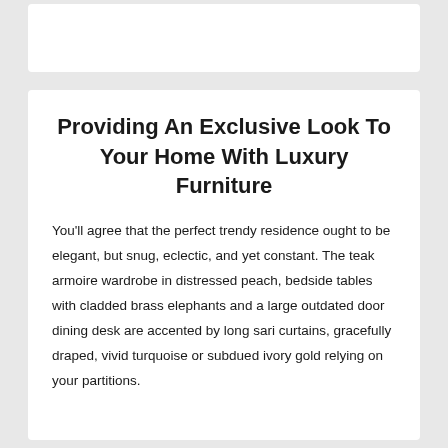Providing An Exclusive Look To Your Home With Luxury Furniture
You'll agree that the perfect trendy residence ought to be elegant, but snug, eclectic, and yet constant. The teak armoire wardrobe in distressed peach, bedside tables with cladded brass elephants and a large outdated door dining desk are accented by long sari curtains, gracefully draped, vivid turquoise or subdued ivory gold relying on your partitions.